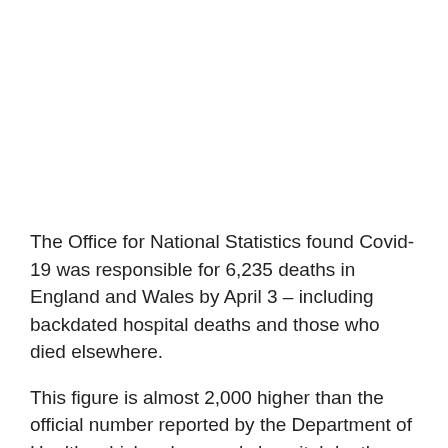The Office for National Statistics found Covid-19 was responsible for 6,235 deaths in England and Wales by April 3 – including backdated hospital deaths and those who died elsewhere.
This figure is almost 2,000 higher than the official number reported by the Department of Health, which only records hospital deaths, on April 4.